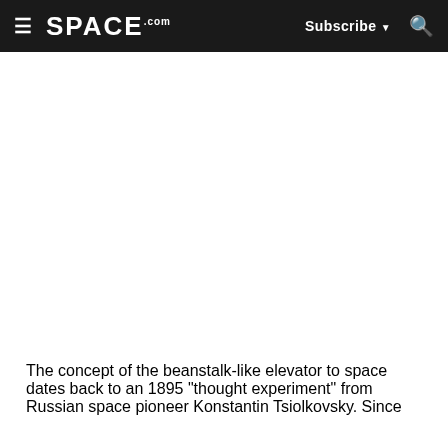SPACE.com — Subscribe — Search
[Figure (other): Large blank white rectangular area, likely an advertisement or image placeholder]
The concept of the beanstalk-like elevator to space dates back to an 1895 "thought experiment" from Russian space pioneer Konstantin Tsiolkovsky. Since